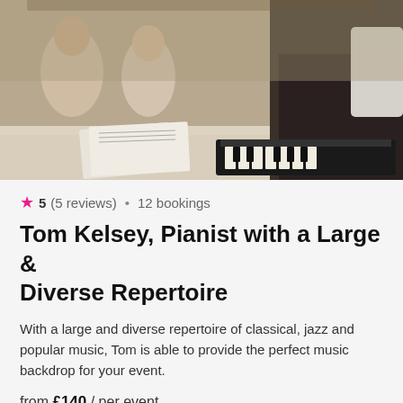[Figure (photo): Pianist in a black suit playing a keyboard at a dining event, with guests seated at a long table in the background]
★ 5 (5 reviews) • 12 bookings
Tom Kelsey, Pianist with a Large & Diverse Repertoire
With a large and diverse repertoire of classical, jazz and popular music, Tom is able to provide the perfect music backdrop for your event.
from £140 / per event
[Figure (photo): Partial view of a second photo showing a room with people seated, warm lighting]